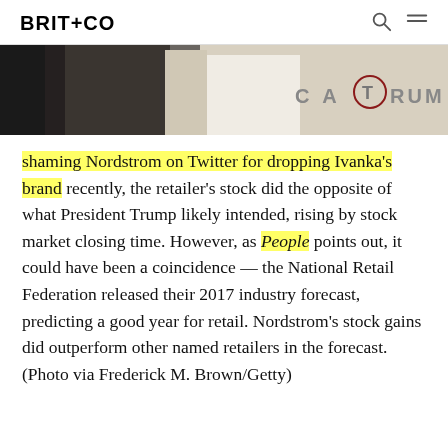BRIT+CO
[Figure (photo): Partial photo showing a person in a white dress with text 'CATRUMP' visible in the background, cropped at the top portion]
shaming Nordstrom on Twitter for dropping Ivanka's brand recently, the retailer's stock did the opposite of what President Trump likely intended, rising by stock market closing time. However, as People points out, it could have been a coincidence — the National Retail Federation released their 2017 industry forecast, predicting a good year for retail. Nordstrom's stock gains did outperform other named retailers in the forecast. (Photo via Frederick M. Brown/Getty)